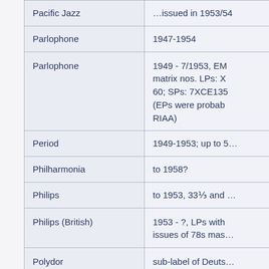| (spacer) | Label | Details |
| --- | --- | --- |
|  | Pacific Jazz | …issued in 1953/54 |
|  | Parlophone | 1947-1954 |
|  | Parlophone | 1949 - 7/1953, EM… matrix nos. LPs: X… 60; SPs: 7XCE135… (EPs were probab… RIAA) |
|  | Period | 1949-1953; up to 5… |
|  | Philharmonia | to 1958? |
|  | Philips | to 1953, 33⅓ and … |
|  | Philips (British) | 1953 - ?, LPs with … issues of 78s mas… |
|  | Polydor | sub-label of Deuts… Grammophon |
|  | Polymusic | to 1958 (regular m… records) |
|  | Polymusic (bisected) | inside band -0 roll… |